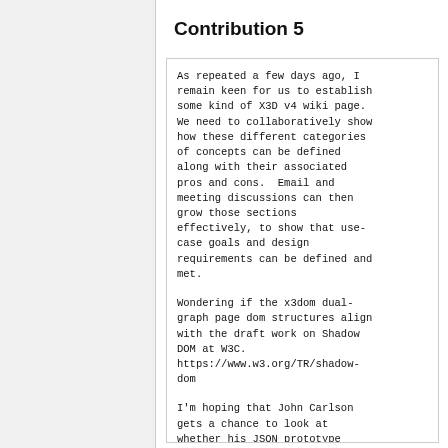Contribution 5
As repeated a few days ago, I remain keen for us to establish some kind of X3D v4 wiki page. We need to collaboratively show how these different categories of concepts can be defined along with their associated pros and cons.  Email and meeting discussions can then grow those sections effectively, to show that use-case goals and design requirements can be defined and met.

Wondering if the x3dom dual-graph page dom structures align with the draft work on Shadow DOM at W3C. https://www.w3.org/TR/shadow-dom

I'm hoping that John Carlson gets a chance to look at whether his JSON prototype expander might be adaptable as part of x3dom - that would be